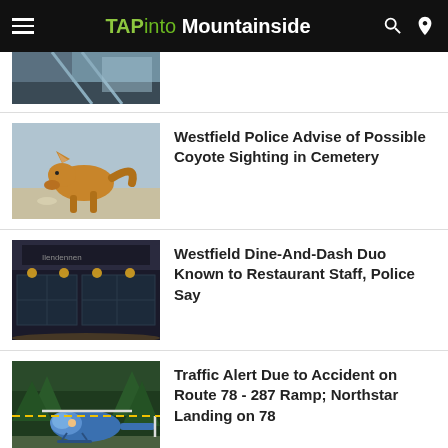TAPinto Mountainside
[Figure (photo): Partial thumbnail of a building/structure at top of list]
Westfield Police Advise of Possible Coyote Sighting in Cemetery
[Figure (photo): Coyote walking on pavement sniffing the ground]
Westfield Dine-And-Dash Duo Known to Restaurant Staff, Police Say
[Figure (photo): Exterior of a restaurant at night with lights]
Traffic Alert Due to Accident on Route 78 - 287 Ramp; Northstar Landing on 78
[Figure (photo): Helicopter on the ground with crew]